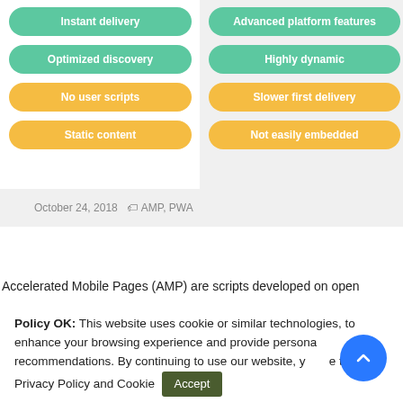[Figure (infographic): Two-column layout with pill-shaped labels. Left column (white background): green pills 'Instant delivery' and 'Optimized discovery'; yellow pills 'No user scripts' and 'Static content'. Right column (grey background): green pills 'Advanced platform features' and 'Highly dynamic'; yellow pills 'Slower first delivery' and 'Not easily embedded'.]
October 24, 2018  AMP, PWA
Accelerated Mobile Pages (AMP) are scripts developed on open
Policy OK: This website uses cookie or similar technologies, to enhance your browsing experience and provide persona recommendations. By continuing to use our website, y e to o Privacy Policy and Cookie  Accept